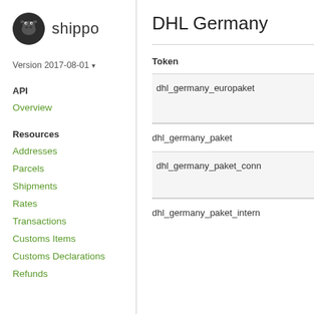[Figure (logo): Shippo hippo logo icon with the text 'shippo']
Version 2017-08-01 ▾
API
Overview
Resources
Addresses
Parcels
Shipments
Rates
Transactions
Customs Items
Customs Declarations
Refunds
DHL Germany
Token
dhl_germany_europaket
dhl_germany_paket
dhl_germany_paket_conn
dhl_germany_paket_intern